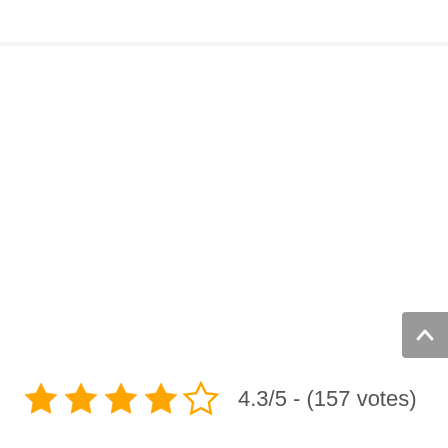[Figure (other): Scroll-to-top button (chevron up icon) in grey rounded rectangle, positioned at right side of page]
4.3/5 - (157 votes)